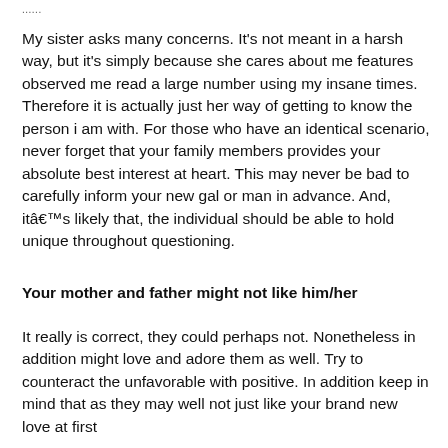......
My sister asks many concerns. It’s not meant in a harsh way, but it’s simply because she cares about me features observed me read a large number using my insane times. Therefore it is actually just her way of getting to know the person i am with. For those who have an identical scenario, never forget that your family members provides your absolute best interest at heart. This may never be bad to carefully inform your new gal or man in advance. And, itâââs likely that, the individual should be able to hold unique throughout questioning.
Your mother and father might not like him/her
It really is correct, they could perhaps not. Nonetheless in addition might love and adore them as well. Try to counteract the unfavorable with positive. In addition keep in mind that as they may well not just like your brand new love at first...